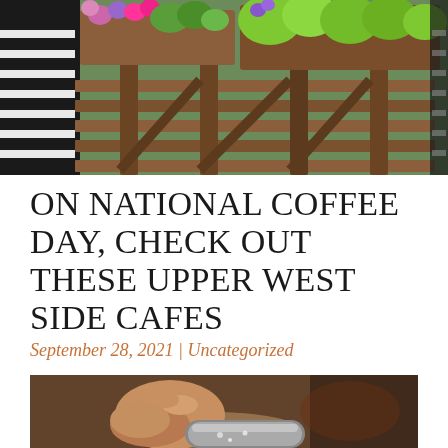[Figure (photo): Outdoor cafe or terrace with wooden slatted furniture/railings and colorful flower planters with green foliage and pink/purple blooms against a brick wall background]
ON NATIONAL COFFEE DAY, CHECK OUT THESE UPPER WEST SIDE CAFES
September 28, 2021 | Uncategorized
[Figure (photo): Close-up of a hand holding a coffee portafilter or espresso machine handle, coffee equipment in warm tones]